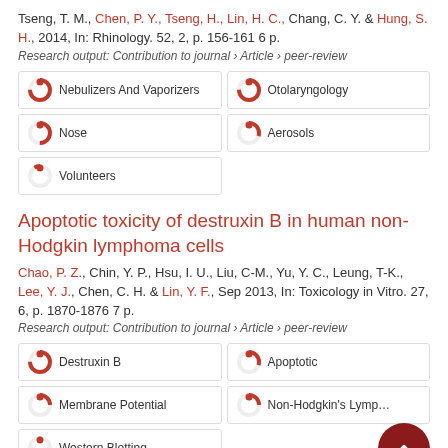Tseng, T. M., Chen, P. Y., Tseng, H., Lin, H. C., Chang, C. Y. & Hung, S. H., 2014, In: Rhinology. 52, 2, p. 156-161 6 p.
Research output: Contribution to journal › Article › peer-review
[Figure (infographic): Keyword badges with donut-style percentage indicators: Nebulizers And Vaporizers (100%), Otolaryngology (100%), Nose (75%), Aerosols (55%), Volunteers (15%)]
Apoptotic toxicity of destruxin B in human non-Hodgkin lymphoma cells
Chao, P. Z., Chin, Y. P., Hsu, I. U., Liu, C-M., Yu, Y. C., Leung, T-K., Lee, Y. J., Chen, C. H. & Lin, Y. F., Sep 2013, In: Toxicology in Vitro. 27, 6, p. 1870-1876 7 p.
Research output: Contribution to journal › Article › peer-review
[Figure (infographic): Keyword badges with donut-style percentage indicators: Destruxin B (100%), Apoptotic (55%), Membrane Potential (50%), Non-Hodgkin's Lymphoma (50%), Western Blotting (25%)]